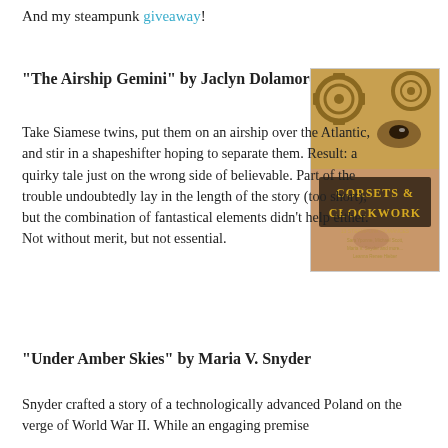And my steampunk giveaway!
"The Airship Gemini" by Jaclyn Dolamore
[Figure (photo): Book cover of 'Corsets & Clockwork: 13 Steampunk Romances' showing a close-up of a woman's face half-obscured by golden clockwork gears, with the title text in dark stylized lettering]
Take Siamese twins, put them on an airship over the Atlantic, and stir in a shapeshifter hoping to separate them. Result: a quirky tale just on the wrong side of believable. Part of the trouble undoubtedly lay in the length of the story (too short), but the combination of fantastical elements didn’t help either. Not without merit, but not essential.
"Under Amber Skies" by Maria V. Snyder
Snyder crafted a story of a technologically advanced Poland on the verge of World War II. While an engaging premise